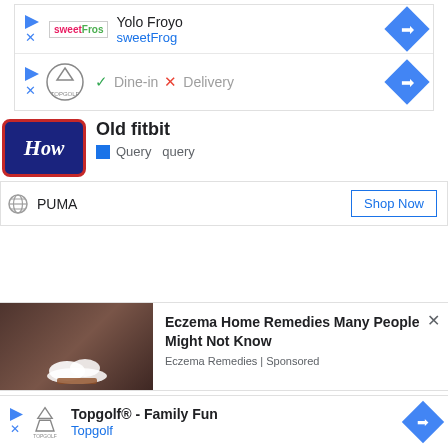[Figure (screenshot): Search result card for Yolo Froyo / sweetFrog with navigation arrow button]
[Figure (screenshot): Search result card for Topgolf with Dine-in checkmark and Delivery X, navigation arrow button]
Old fitbit
Query  query
PUMA
Shop Now
Eczema Home Remedies Many People Might Not Know
Eczema Remedies | Sponsored
Topgolf® - Family Fun
Topgolf